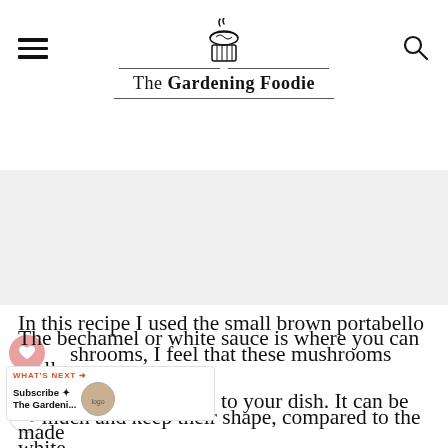The Gardening Foodie
In this recipe I used the small brown portabello mushrooms, I feel that these mushrooms don't shrink much and keep their shape, compared to the white button mushrooms.
The bechamel or white sauce is where you can really add flavour or richness to your dish. It can be made